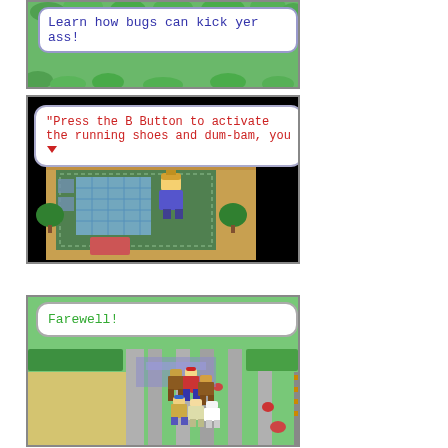[Figure (screenshot): Pokemon game screenshot showing a dialog bubble with blue monospace text reading: Learn how bugs can kick yer ass! with green leafy background]
[Figure (screenshot): Pokemon game screenshot showing interior room scene with character and dialog bubble in red monospace text: "Press the B Button to activate the running shoes and dum-bam, you (down arrow)]
[Figure (screenshot): Pokemon game screenshot showing outdoor town scene with multiple characters and dialog bubble in green monospace text: Farewell!]